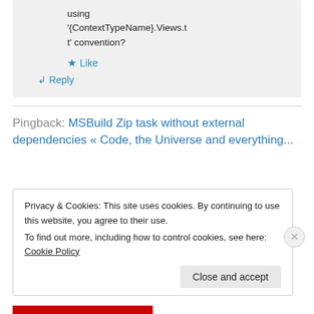using '{ContextTypeName}.Views.tt' convention?
★ Like
↳ Reply
Pingback: MSBuild Zip task without external dependencies « Code, the Universe and everything...
Privacy & Cookies: This site uses cookies. By continuing to use this website, you agree to their use.
To find out more, including how to control cookies, see here: Cookie Policy
Close and accept